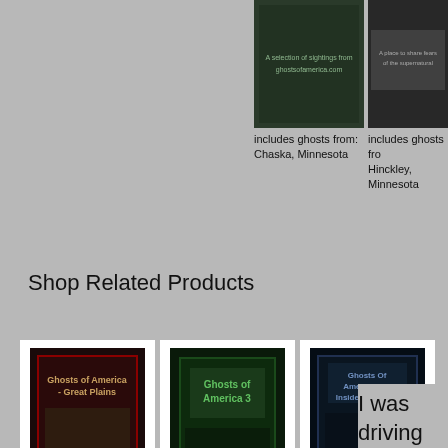[Figure (photo): Book cover thumbnail - ghostly image with text 'includes ghosts from: Chaska, Minnesota']
[Figure (photo): Book cover thumbnail - ghostly path image with text 'includes ghosts from: Hinckley, Minnesota']
Shop Related Products
[Figure (photo): Book cover - Ghosts of America - Great Plains]
Ghosts of America - Great Plains (Ghos...
$12.99 prime (7)
[Figure (photo): Book cover - Ghosts of America 3]
Ghosts of America 3
$12.99 prime (25)
[Figure (photo): Book cover - Ghosts Of America 16 - Inside The Walls]
Ghosts Of America 16 - Inside The Walls
$4.11 prime (8)
I was driving shadowy figu and I saw not